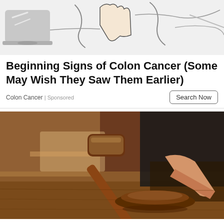[Figure (illustration): Medical illustration showing hands and anatomical drawing, advertisement for colon cancer signs]
Beginning Signs of Colon Cancer (Some May Wish They Saw Them Earlier)
Colon Cancer | Sponsored
Search Now
[Figure (photo): Photo of a judge's gavel being struck on a wooden surface in a courtroom, person in dark clothing holding the gavel]
Fifth day of trial in blogger's murder case: